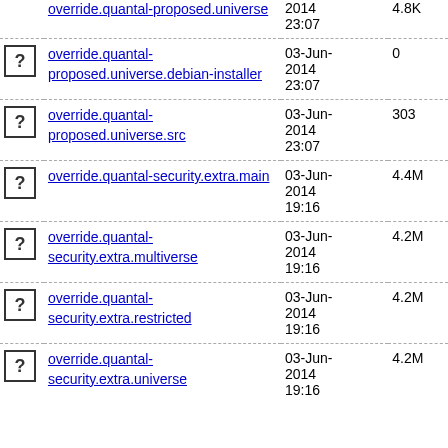override.quantal-proposed.universe 2014 23:07 4.8K
override.quantal-proposed.universe.debian-installer 03-Jun-2014 23:07 0
override.quantal-proposed.universe.src 03-Jun-2014 23:07 303
override.quantal-security.extra.main 03-Jun-2014 19:16 4.4M
override.quantal-security.extra.multiverse 03-Jun-2014 19:16 4.2M
override.quantal-security.extra.restricted 03-Jun-2014 19:16 4.2M
override.quantal-security.extra.universe 03-Jun-2014 19:16 4.2M